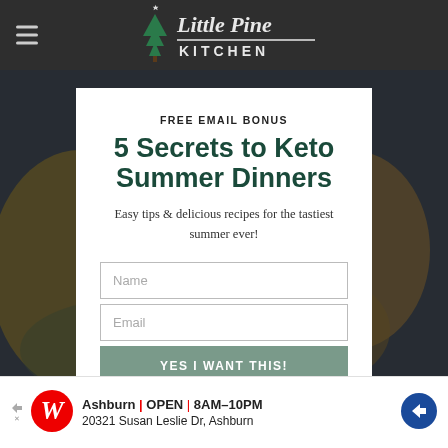[Figure (logo): Little Pine Kitchen logo with pine tree and stylized cursive text]
[Figure (photo): Background food photo showing colorful summer dishes]
FREE EMAIL BONUS
5 Secrets to Keto Summer Dinners
Easy tips & delicious recipes for the tastiest summer ever!
Name
Email
YES I WANT THIS!
Ashburn OPEN 8AM–10PM 20321 Susan Leslie Dr, Ashburn